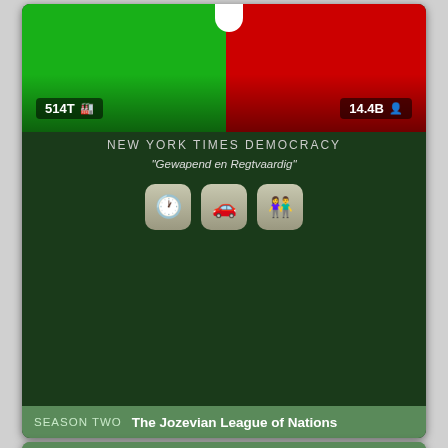[Figure (screenshot): Top card: NationStates game card for 'New York Times Democracy' showing a split green/red flag, stats 514T and 14.4B, nation name, motto 'Gewapend en Regtvaardig', three icon buttons, and a season bar reading 'SEASON TWO The Jozevian League of Nations']
[Figure (screenshot): Bottom card: NationStates game card labeled 'UNCOMMON' for 'The Absolute Monarchy of Ostra Vetere', showing a dark green/black flag design with red and green stripes, a circular emblem with an angular arrow-like symbol on the left side]